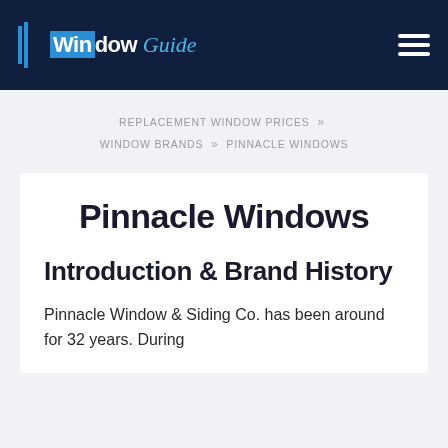Window Guide
REPLACEMENT WINDOW PRICES >> WINDOW BRANDS >> PINNACLE WINDOWS
Pinnacle Windows
Introduction & Brand History
Pinnacle Window & Siding Co. has been around for 32 years. During